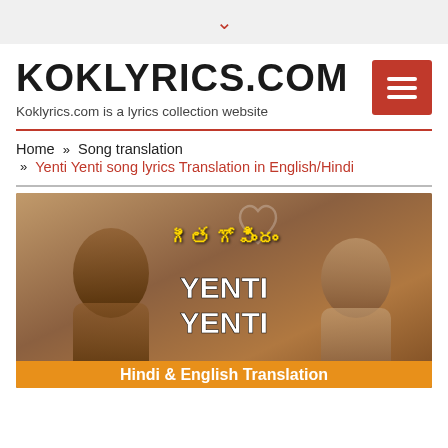▾
KOKLYRICS.COM
Koklyrics.com is a lyrics collection website
Home » Song translation » Yenti Yenti song lyrics Translation in English/Hindi
[Figure (photo): Movie promotional image for Geetha Govindam featuring two actors. Yellow Telugu text reads 'గీత గోవిందం', white bold text reads 'YENTI YENTI', orange banner at bottom reads 'Hindi & English Translation']